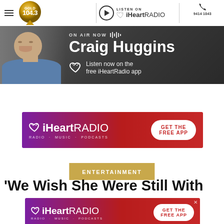Gold 104.3 — LISTEN ON iHeartRADIO — 9414 1043
[Figure (screenshot): On Air Now banner showing Craig Huggins with iHeartRadio app listen prompt on dark background]
[Figure (screenshot): iHeartRADIO advertisement banner: RADIO · MUSIC · PODCASTS — GET THE FREE APP]
ENTERTAINMENT
'We Wish She Were Still With
[Figure (screenshot): iHeartRADIO advertisement banner (second): RADIO · MUSIC · PODCASTS — GET THE FREE APP]